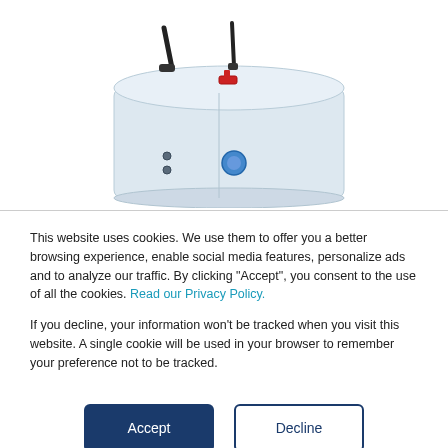[Figure (photo): A white industrial tank or water heater unit with two black angled handles/rods on top, a red valve fitting, a blue circular indicator, and two small black dots/buttons on the front panel. White background.]
This website uses cookies. We use them to offer you a better browsing experience, enable social media features, personalize ads and to analyze our traffic. By clicking “Accept”, you consent to the use of all the cookies. Read our Privacy Policy.
If you decline, your information won’t be tracked when you visit this website. A single cookie will be used in your browser to remember your preference not to be tracked.